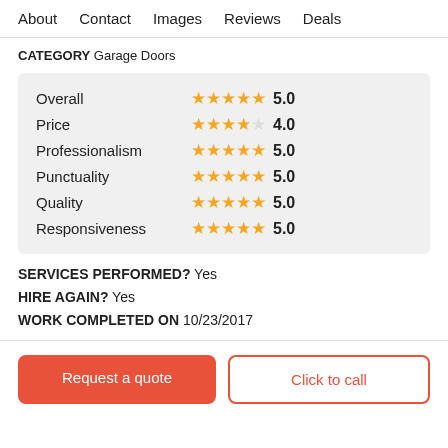About  Contact  Images  Reviews  Deals
CATEGORY Garage Doors
| Category | Stars | Score |
| --- | --- | --- |
| Overall | ★★★★★ | 5.0 |
| Price | ★★★★★ | 4.0 |
| Professionalism | ★★★★★ | 5.0 |
| Punctuality | ★★★★★ | 5.0 |
| Quality | ★★★★★ | 5.0 |
| Responsiveness | ★★★★★ | 5.0 |
SERVICES PERFORMED? Yes
HIRE AGAIN? Yes
WORK COMPLETED ON 10/23/2017
Request a quote
Click to call